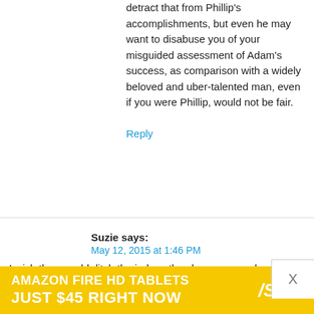detract that from Phillip's accomplishments, but even he may want to disabuse you of your misguided assessment of Adam's success, as comparison with a widely beloved and uber-talented man, even if you were Phillip, would not be fair.
Reply
Suzie says:
May 12, 2015 at 1:46 PM
I wish they would ditch the judges they have now and call back Simon, Paula, and Randy (yes, I said Randy) for this final season. I would love to see the originals along with Ryan and Brian Dunkelman. I still remember that first season and how much fun it
[Figure (other): Amazon Fire HD Tablets advertisement banner: 'AMAZON FIRE HD TABLETS JUST $45 RIGHT NOW' with SPY logo on yellow/black background]